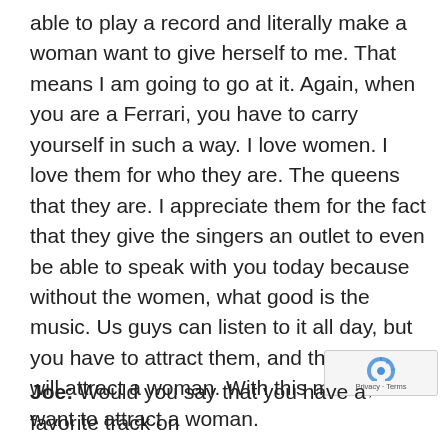able to play a record and literally make a woman want to give herself to me. That means I am going to go at it. Again, when you are a Ferrari, you have to carry yourself in such a way. I love women. I love them for who they are. The queens that they are. I appreciate them for the fact that they give the singers an outlet to even be able to speak with you today because without the women, what good is the music. Us guys can listen to it all day, but you have to attract them, and that Ferrari will attract a woman. With this music, I want to attract a woman.
[Figure (other): reCAPTCHA badge with logo and Privacy - Terms text]
Joe: Would you say that you have a favorite track on